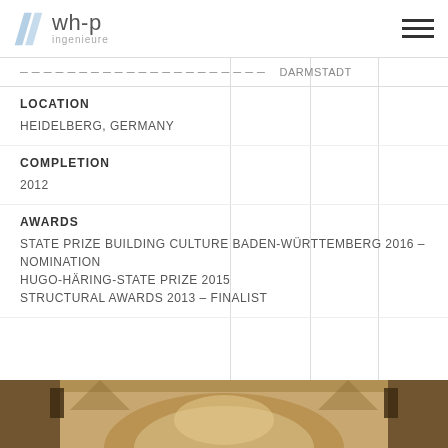wh-p ingenieure
DARMSTADT
LOCATION
HEIDELBERG, GERMANY
COMPLETION
2012
AWARDS
STATE PRIZE BUILDING CULTURE BADEN-WÜRTTEMBERG 2016 – NOMINATION
HUGO-HÄRING-STATE PRIZE 2015
STRUCTURAL AWARDS 2013 – FINALIST
[Figure (photo): Interior architectural photo showing arched ceiling with ornate decorations, warm golden tones]